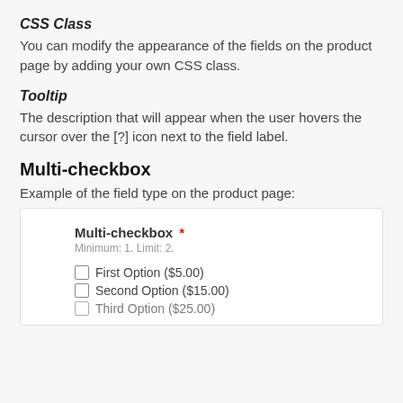CSS Class
You can modify the appearance of the fields on the product page by adding your own CSS class.
Tooltip
The description that will appear when the user hovers the cursor over the [?] icon next to the field label.
Multi-checkbox
Example of the field type on the product page:
[Figure (screenshot): A UI mockup showing a Multi-checkbox field with a required asterisk, hint text 'Minimum: 1. Limit: 2.', and three checkbox options: First Option ($5.00), Second Option ($15.00), and a partially visible Third Option ($25.00).]